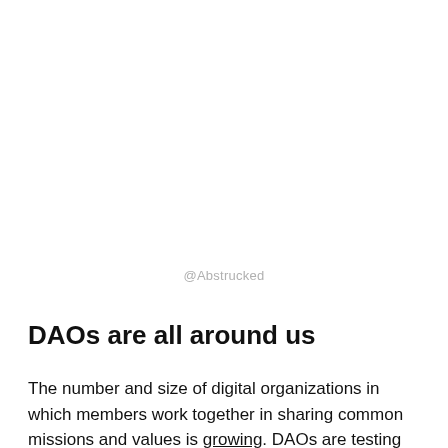@Abstrucked
DAOs are all around us
The number and size of digital organizations in which members work together in sharing common missions and values is growing. DAOs are testing innovative technological tools and developing best practices to